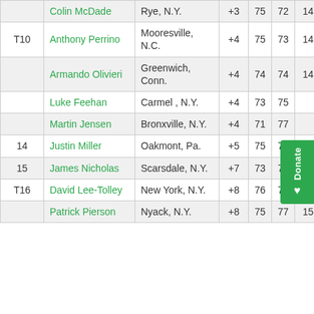|  | Name | City | Score | R1 | R2 | Total |
| --- | --- | --- | --- | --- | --- | --- |
|  | Colin McDade | Rye, N.Y. | +3 | 75 | 72 | 147 |
| T10 | Anthony Perrino | Mooresville, N.C. | +4 | 75 | 73 | 148 |
|  | Armando Olivieri | Greenwich, Conn. | +4 | 74 | 74 | 148 |
|  | Luke Feehan | Carmel , N.Y. | +4 | 73 | 75 |  |
|  | Martin Jensen | Bronxville, N.Y. | +4 | 71 | 77 |  |
| 14 | Justin Miller | Oakmont, Pa. | +5 | 75 | 74 | 149 |
| 15 | James Nicholas | Scarsdale, N.Y. | +7 | 73 | 78 | 151 |
| T16 | David Lee-Tolley | New York, N.Y. | +8 | 76 | 76 | 152 |
|  | Patrick Pierson | Nyack, N.Y. | +8 | 75 | 77 | 152 |